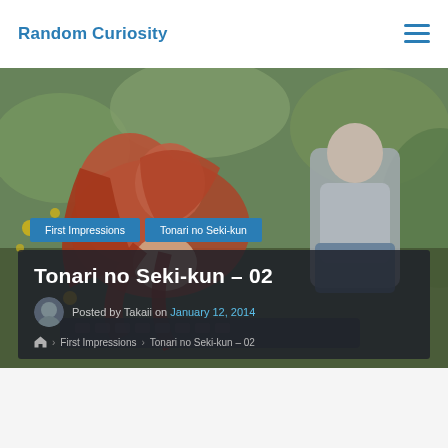Random Curiosity
[Figure (illustration): Anime-style illustration showing two characters, one with long red/orange hair lying down, and another character in a gray/white outfit, colorful background with floral elements]
First Impressions
Tonari no Seki-kun
Tonari no Seki-kun – 02
Posted by Takaii on January 12, 2014
First Impressions › Tonari no Seki-kun – 02